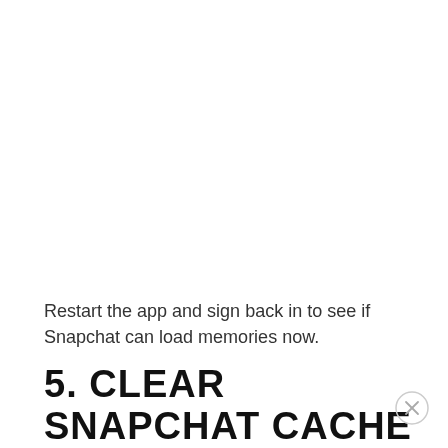Restart the app and sign back in to see if Snapchat can load memories now.
5. CLEAR SNAPCHAT CACHE